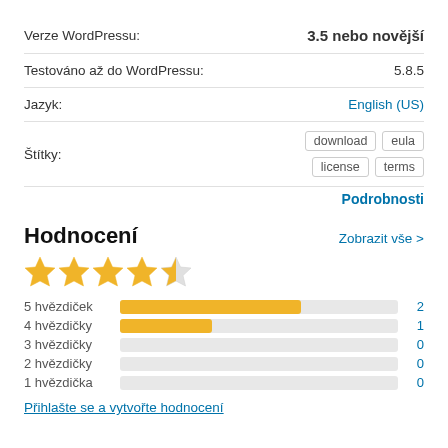| Verze WordPressu: | 3.5 nebo novější |
| Testováno až do WordPressu: | 5.8.5 |
| Jazyk: | English (US) |
| Štítky: | download  eula  license  terms |
Podrobnosti
Hodnocení
Zobrazit vše >
[Figure (other): 4.5 out of 5 stars rating (5 golden stars, last half-filled)]
[Figure (bar-chart): Hodnocení hvězdiček]
Přihlašte se a vytvořte hodnocení